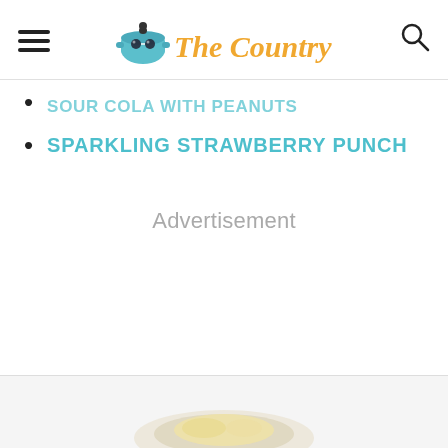The Country Cook — navigation header with hamburger menu, logo, and search icon
SOUR COLA WITH PEANUTS (partial, cut off at top)
SPARKLING STRAWBERRY PUNCH
Advertisement
[Figure (photo): Partial image of a plate/dish visible at the bottom of the page]